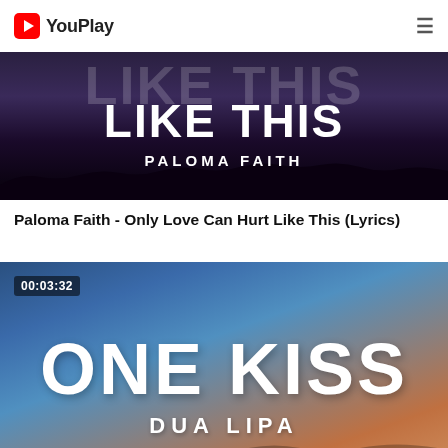YouPlay
[Figure (screenshot): Music video thumbnail for Paloma Faith - Only Love Can Hurt Like This, showing large white text 'LIKE THIS' and 'PALOMA FAITH' on a dark purple night sky background with silhouetted landscape]
Paloma Faith - Only Love Can Hurt Like This (Lyrics)
[Figure (screenshot): Music video thumbnail for One Kiss by Dua Lipa, showing large white brush-stroke text 'ONE KISS' and 'DUA LIPA' on a blue-to-orange gradient sky background, with duration badge 00:03:32 in top-left]